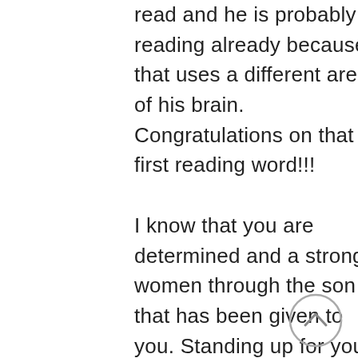read and he is probably reading already because that uses a different area of his brain. Congratulations on that first reading word!!! I know that you are determined and a strong women through the son that has been given to you. Standing up for your point of view is commendable, but you bring us to comment because it matters to us also. There are been many